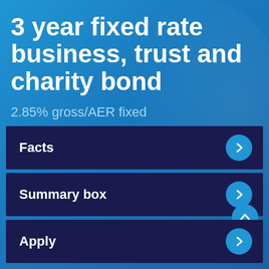3 year fixed rate business, trust and charity bond
2.85% gross/AER fixed
Facts →
Summary box →
Apply →